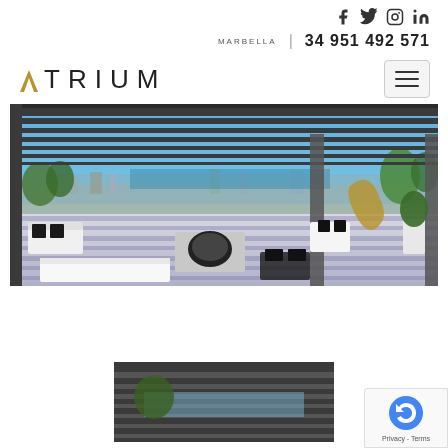Social icons: Facebook, Twitter, Instagram, LinkedIn
MARBELLA  |  34 951 492 571
ATRIUM
[Figure (photo): Luxury rooftop terrace with pergola, lounge seating with dark cushions, panoramic sea view of Marbella. Modern outdoor living space with striped shadow patterns on white floor.]
[Figure (photo): Partial view of another terrace pergola image, cropped at bottom of page.]
Privacy - Terms